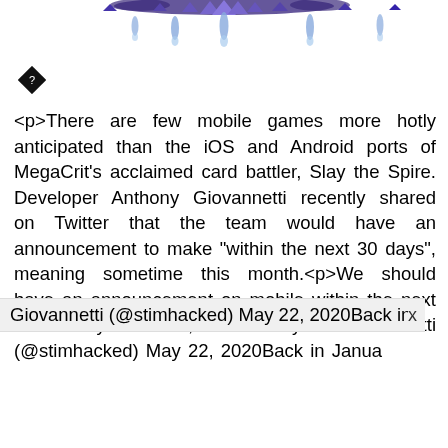[Figure (illustration): Decorative banner at top of page with purple jewel/gem ornaments hanging down against a white background, with blue droplet-like elements.]
[Figure (other): Small black diamond/question mark icon]
<p>There are few mobile games more hotly anticipated than the iOS and Android ports of MegaCrit's acclaimed card battler, Slay the Spire. Developer Anthony Giovannetti recently shared on Twitter that the team would have an announcement to make "within the next 30 days", meaning sometime this month.<p>We should have an announcement on mobile within the next 30 days.&mdash; Anthony Giovannetti (@stimhacked) May 22, 2020Back in Janua
x